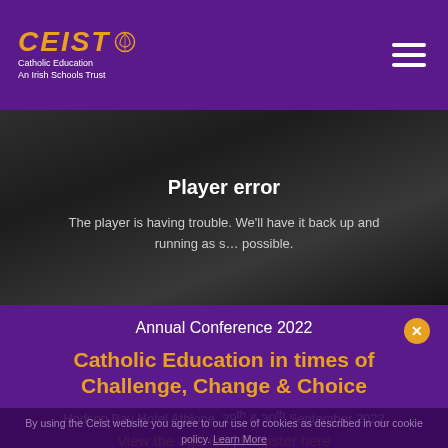CEIST Catholic Education An Irish Schools Trust
[Figure (screenshot): Dark background player error screen showing 'Player error' message]
Player error
The player is having trouble. We'll have it back up and running as soon as possible.
Annual Conference 2022
Catholic Education in times of Challenge, Change & Choice
Hodson Bay Hotel Athlone, 29th & 30th September 2022
View the agenda | Register here
By using the Ceist website you agree to our use of cookies as described in our cookie policy. Learn More I agree